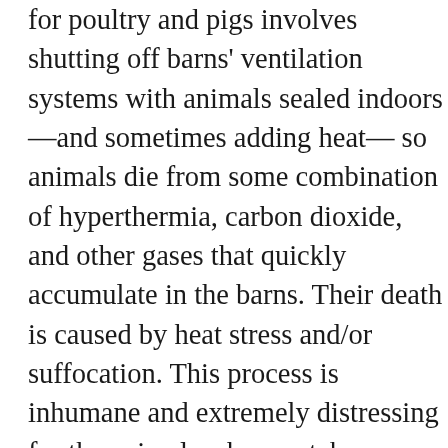for poultry and pigs involves shutting off barns' ventilation systems with animals sealed indoors —and sometimes adding heat— so animals die from some combination of hyperthermia, carbon dioxide, and other gases that quickly accumulate in the barns. Their death is caused by heat stress and/or suffocation. This process is inhumane and extremely distressing for the animals who can take many hours to die. Water-based foam depopulation methods – often used in the poultry industry – essentially drown or suffocate animals. Adapted from firefighting foam, the foam obstructs the animal's airway and causes death over several stressful and agonizing minutes. Indeed, neither ventilation shut down nor water-based foam are approved by the World Organisation for Animal Health, even in extreme